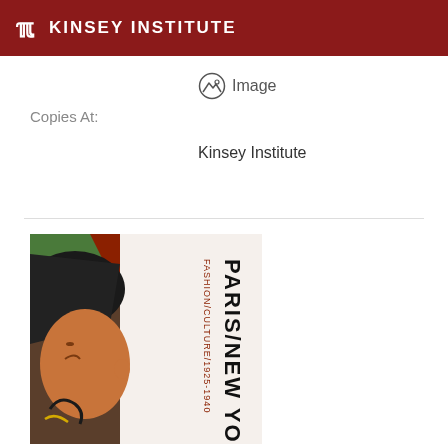KINSEY INSTITUTE
Image
Copies At:
Kinsey Institute
[Figure (photo): Book cover showing an Art Deco style illustration of a stylized face in profile with text 'PARIS/NEW YORK' and 'FASHION/CULTURE/1925-1940' vertically oriented on the right side]